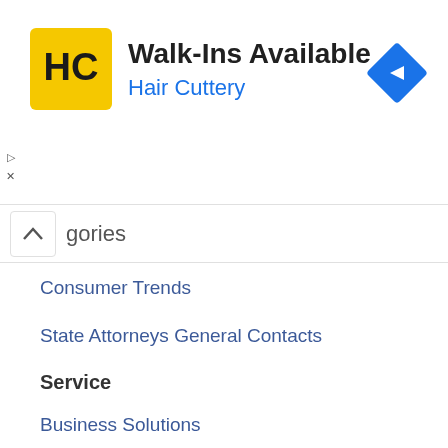[Figure (logo): Hair Cuttery advertisement banner with HC logo, Walk-Ins Available text, Hair Cuttery subtitle, and a blue diamond navigation arrow icon]
gories
Consumer Trends
State Attorneys General Contacts
Service
Business Solutions
List your Business
Tips For Consumers
Tips For Companies